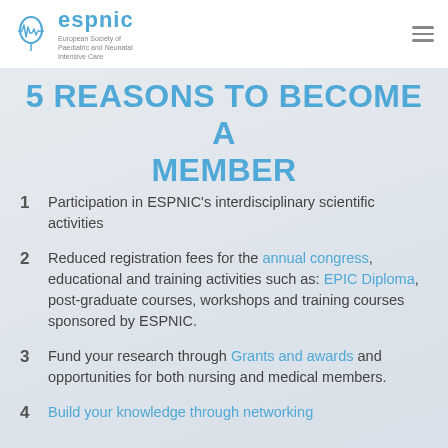espnic — European Society of Paediatric and Neonatal Intensive Care
5 REASONS TO BECOME A MEMBER
1  Participation in ESPNIC's interdisciplinary scientific activities
2  Reduced registration fees for the annual congress, educational and training activities such as: EPIC Diploma, post-graduate courses, workshops and training courses sponsored by ESPNIC.
3  Fund your research through Grants and awards and opportunities for both nursing and medical members.
4  Build your knowledge through networking...